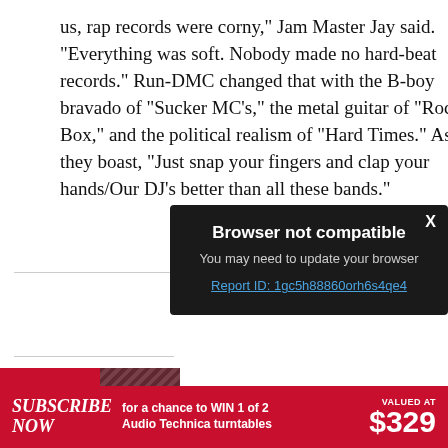us, rap records were corny,” Jam Master Jay said. “Everything was soft. Nobody made no hard-beat records.” Run-DMC changed that with the B-boy bravado of “Sucker MC’s,” the metal guitar of “Rock Box,” and the political realism of “Hard Times.” As they boast, “Just snap your fingers and clap your hands/Our DJ’s better than all these bands.”
[Figure (screenshot): Browser not compatible modal overlay with dark background. Title: 'Browser not compatible'. Body: 'You may need to update your browser'. Link: 'Report ID: 1gc5h88860orh6s4qe4'. Close button 'X' in top right corner.]
[Figure (infographic): Red banner advertisement: SUBSCRIBE NOW for a chance to WIN 1 of 2 Audio Technica turntables VALUED AT $329]